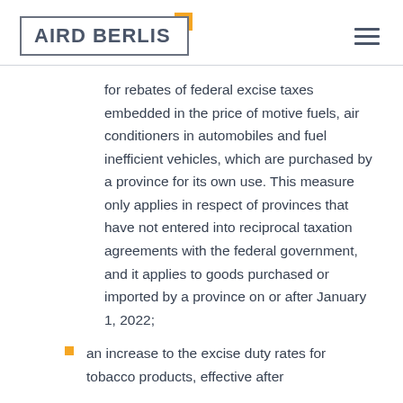[Figure (logo): Aird Berlis law firm logo with grey border box and orange corner accent, plus hamburger menu icon]
for rebates of federal excise taxes embedded in the price of motive fuels, air conditioners in automobiles and fuel inefficient vehicles, which are purchased by a province for its own use. This measure only applies in respect of provinces that have not entered into reciprocal taxation agreements with the federal government, and it applies to goods purchased or imported by a province on or after January 1, 2022;
an increase to the excise duty rates for tobacco products, effective after